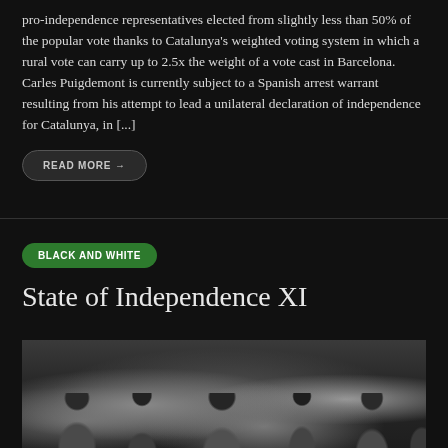pro-independence representatives elected from slightly less than 50% of the popular vote thanks to Catalunya's weighted voting system in which a rural vote can carry up to 2.5x the weight of a vote cast in Barcelona. Carles Puigdemont is currently subject to a Spanish arrest warrant resulting from his attempt to lead a unilateral declaration of independence for Catalunya, in [...]
READ MORE →
BLACK AND WHITE
State of Independence XI
[Figure (photo): Black and white photograph of a crowd of people in an indoor setting, with a woman with long hair visible prominently in the foreground center.]